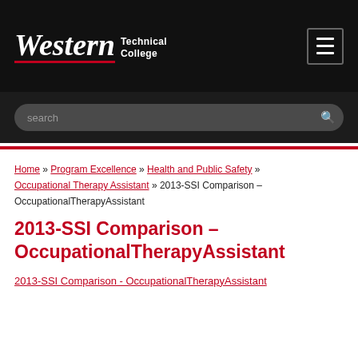Western Technical College
search
Home » Program Excellence » Health and Public Safety » Occupational Therapy Assistant » 2013-SSI Comparison – OccupationalTherapyAssistant
2013-SSI Comparison – OccupationalTherapyAssistant
2013-SSI Comparison - OccupationalTherapyAssistant